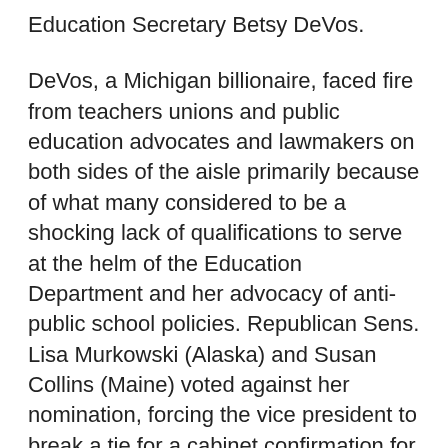Education Secretary Betsy DeVos.
DeVos, a Michigan billionaire, faced fire from teachers unions and public education advocates and lawmakers on both sides of the aisle primarily because of what many considered to be a shocking lack of qualifications to serve at the helm of the Education Department and her advocacy of anti-public school policies. Republican Sens. Lisa Murkowski (Alaska) and Susan Collins (Maine) voted against her nomination, forcing the vice president to break a tie for a cabinet confirmation for the first time ever.
“It’s unprecedented that a vice president has had to help confirm a nominee for secretary of